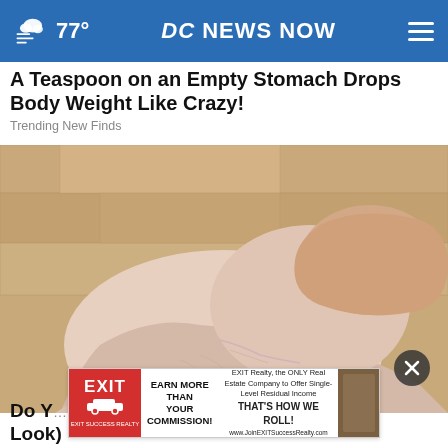77° DC NEWS NOW
A Teaspoon on an Empty Stomach Drops Body Weight Like Crazy!
Trending New Finds
[Figure (photo): Close-up photo of a human foot and ankle being held by hands, showing veins and dry skin against a wooden floor background.]
[Figure (other): EXIT Realty advertisement banner: EARN MORE THAN YOUR COMMISSION! EXIT Realty, the ONLY Real Estate Company to Offer Single-Level Residual Income. THAT'S HOW WE ROLL! www.JoinEXITSuccessRealty.com]
Do Y a Look)